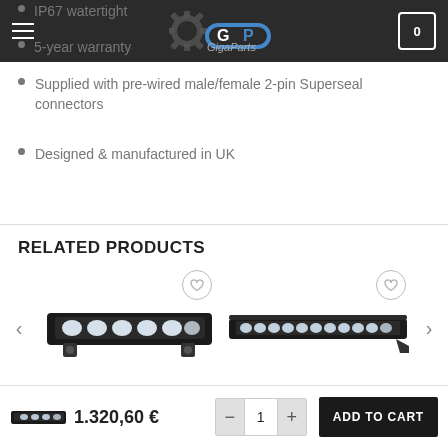GigaParts - hamburger menu, logo, cart (0)
IP67 watertight
5-year warranty
Supplied with pre-wired male/female 2-pin Superseal connectors
Designed & manufactured in UK
RELATED PRODUCTS
[Figure (photo): LED light bar product image, short bar with 6 LEDs]
[Figure (photo): LED light bar product image, longer slim bar with multiple LEDs]
1.320,60 € - ADD TO CART, quantity 1